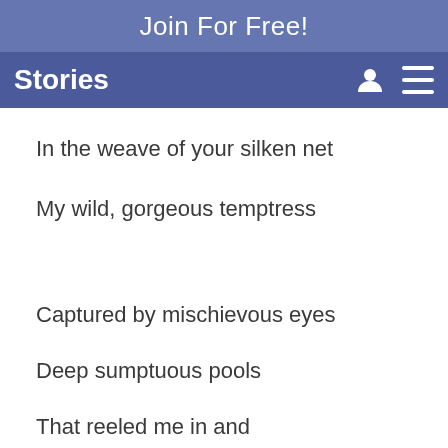Join For Free!
Stories
In the weave of your silken net
My wild, gorgeous temptress
Captured by mischievous eyes
Deep sumptuous pools
That reeled me in and